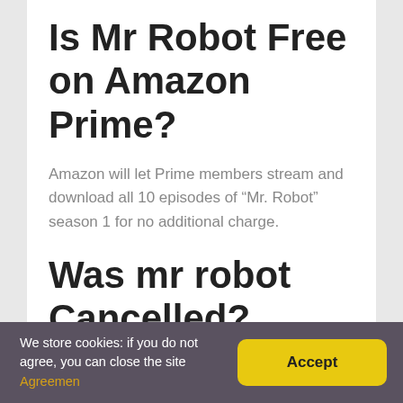Is Mr Robot Free on Amazon Prime?
Amazon will let Prime members stream and download all 10 episodes of “Mr. Robot” season 1 for no additional charge.
Was mr robot Cancelled?
On December 13, 2017, USA renewed Mr. Robot for a fourth season. In August 2018, it was confirmed that
We store cookies: if you do not agree, you can close the site Agreemen